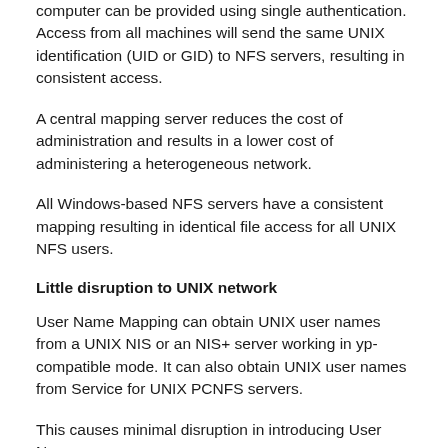computer can be provided using single authentication. Access from all machines will send the same UNIX identification (UID or GID) to NFS servers, resulting in consistent access.
A central mapping server reduces the cost of administration and results in a lower cost of administering a heterogeneous network.
All Windows-based NFS servers have a consistent mapping resulting in identical file access for all UNIX NFS users.
Little disruption to UNIX network
User Name Mapping can obtain UNIX user names from a UNIX NIS or an NIS+ server working in yp-compatible mode. It can also obtain UNIX user names from Service for UNIX PCNFS servers.
This causes minimal disruption in introducing User Name